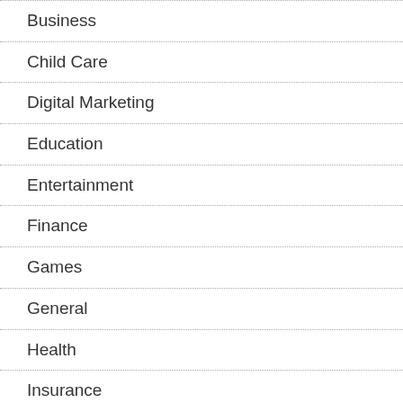Business
Child Care
Digital Marketing
Education
Entertainment
Finance
Games
General
Health
Insurance
Internet Marketing